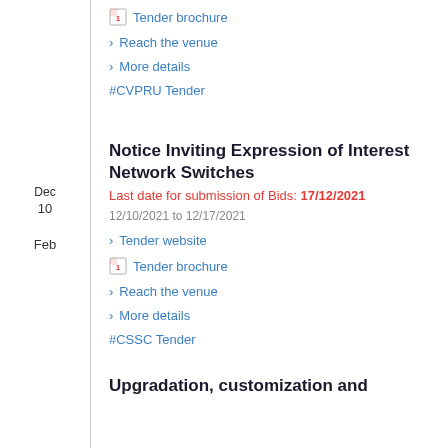Tender brochure
Reach the venue
More details
#CVPRU Tender
Dec
10
Notice Inviting Expression of Interest Network Switches
Last date for submission of Bids: 17/12/2021
12/10/2021 to 12/17/2021
Tender website
Tender brochure
Reach the venue
More details
#CSSC Tender
Feb
Upgradation, customization and